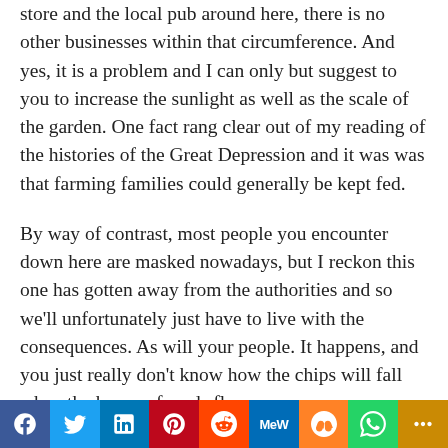store and the local pub around here, there is no other businesses within that circumference. And yes, it is a problem and I can only but suggest to you to increase the sunlight as well as the scale of the garden. One fact rang clear out of my reading of the histories of the Great Depression and it was was that farming families could generally be kept fed.
By way of contrast, most people you encounter down here are masked nowadays, but I reckon this one has gotten away from the authorities and so we'll unfortunately just have to live with the consequences. As will your people. It happens, and you just really don't know how the chips will fall when the house of cards flops.
Pam, I hear your mothers concerns, but then weigh them up against the mental health damage done to
[Figure (infographic): Social media share bar with buttons: Facebook (blue), Twitter (light blue), LinkedIn (dark blue), Pinterest (red), Reddit (orange-red), MeWe (blue), Mix (orange), WhatsApp (green), More (yellow/gold)]